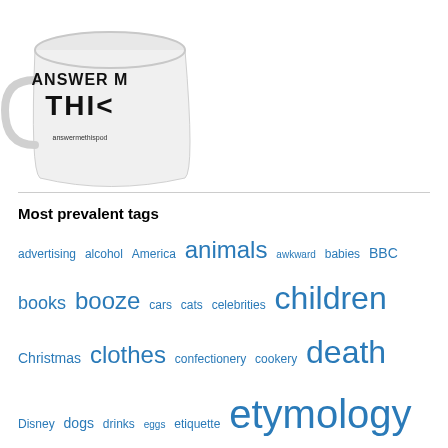[Figure (photo): A white coffee mug with 'ANSWER ME THIS' and 'answermethispodcast' text printed on it, shown at an angle]
Most prevalent tags
advertising alcohol America animals awkward babies BBC books booze cars cats celebrities children Christmas clothes confectionery cookery death Disney dogs drinks eggs etiquette etymology families family fashion films food Friends friendship fruit genitalia genitals gifts hair history holidays hygiene jobs London love